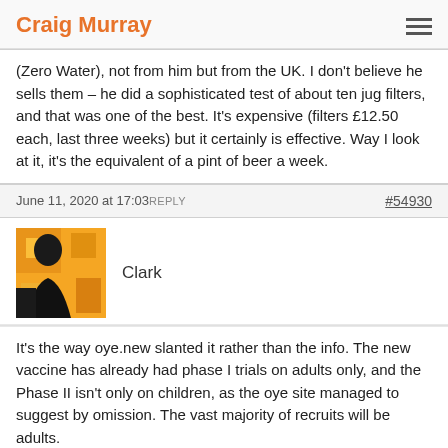Craig Murray
(Zero Water), not from him but from the UK. I don't believe he sells them – he did a sophisticated test of about ten jug filters, and that was one of the best. It's expensive (filters £12.50 each, last three weeks) but it certainly is effective. Way I look at it, it's the equivalent of a pint of beer a week.
June 11, 2020 at 17:03 REPLY  #54930
Clark
It's the way oye.new slanted it rather than the info. The new vaccine has already had phase I trials on adults only, and the Phase II isn't only on children, as the oye site managed to suggest by omission. The vast majority of recruits will be adults.
– "The guy who runs [Natural News…] seems to genuinely believe